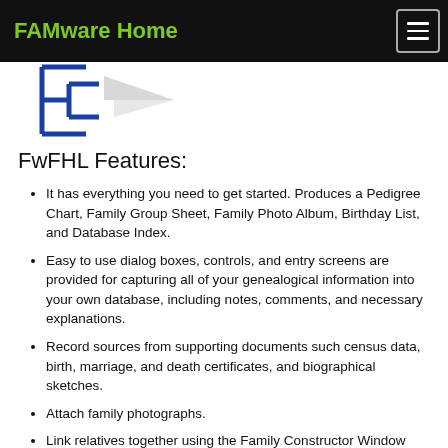FAMware Home
[Figure (logo): FAMware/FwFHL logo: blue angular bracket/tree diagram lines with a grey arrow]
FwFHL Features:
It has everything you need to get started. Produces a Pedigree Chart, Family Group Sheet, Family Photo Album, Birthday List, and Database Index.
Easy to use dialog boxes, controls, and entry screens are provided for capturing all of your genealogical information into your own database, including notes, comments, and necessary explanations.
Record sources from supporting documents such census data, birth, marriage, and death certificates, and biographical sketches.
Attach family photographs.
Link relatives together using the Family Constructor Window (and Batch Update feature).